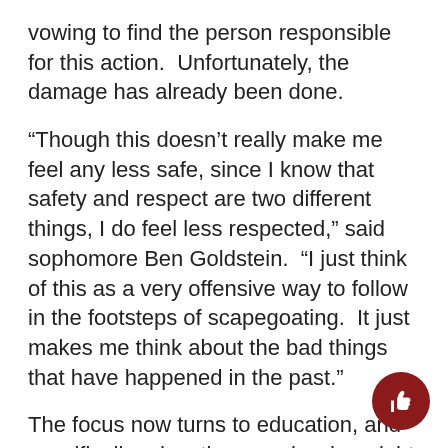vowing to find the person responsible for this action.  Unfortunately, the damage has already been done.
“Though this doesn’t really make me feel any less safe, since I know that safety and respect are two different things, I do feel less respected,” said sophomore Ben Goldstein.  “I just think of this as a very offensive way to follow in the footsteps of scapegoating.  It just makes me think about the bad things that have happened in the past.”
The focus now turns to education, and specifically educating people who might find these types of actions funny.
“A big thing about this sort of hateful message being spread is about bringing education to someone who may not have known about the